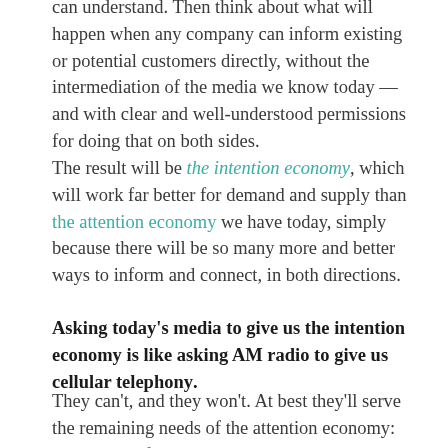can understand. Then think about what will happen when any company can inform existing or potential customers directly, without the intermediation of the media we know today — and with clear and well-understood permissions for doing that on both sides.
The result will be the intention economy, which will work far better for demand and supply than the attention economy we have today, simply because there will be so many more and better ways to inform and connect, in both directions.
Asking today's media to give us the intention economy is like asking AM radio to give us cellular telephony.
They can't, and they won't. At best they'll serve the remaining needs of the attention economy: namely, old-fashioned Madison Avenue type branding, like we get